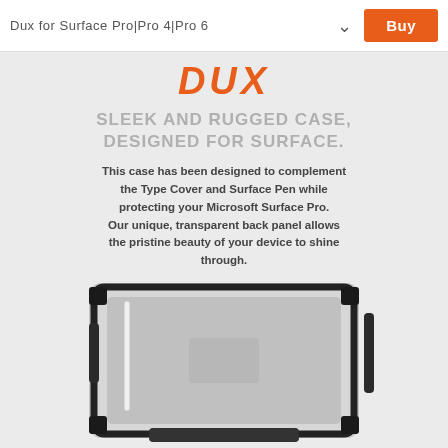Dux for Surface Pro|Pro 4|Pro 6
DUX
SLEEK AND RUGGED CASE, DESIGNED FOR SURFACE.
This case has been designed to complement the Type Cover and Surface Pen while protecting your Microsoft Surface Pro. Our unique, transparent back panel allows the pristine beauty of your device to shine through.
WATCH VIDEO ▶
[Figure (photo): Product photo of Dux case for Surface Pro, showing the rugged transparent back panel and black frame with kickstand]